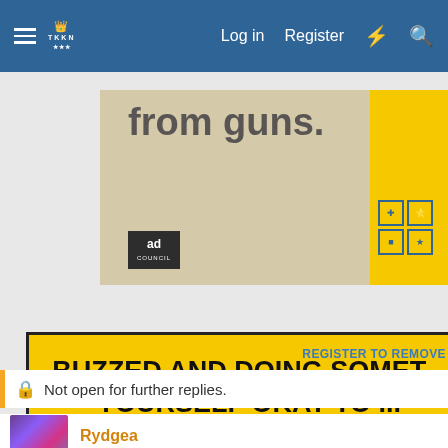TKitchen — Log in | Register
[Figure (screenshot): Ad Council 'End Family Fire' advertisement on beige background with large dark circle logo and 'ad council' badge. Text reads 'from guns.']
[Figure (screenshot): Yellow advertisement banner with black bold text reading 'BUZZED AND DOING SOMET... YOURSELF OKAY TO ...']
REGISTER TO REMOVE
Not open for further replies.
Rydgea
A Walk in Andante